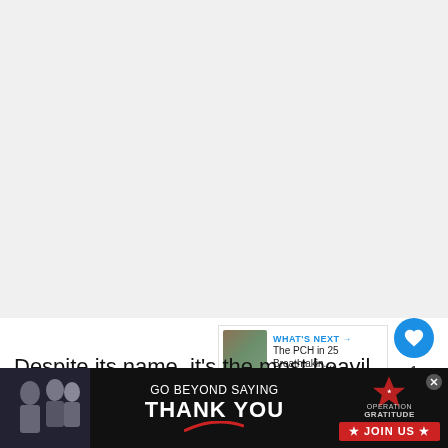[Figure (photo): Large image area at the top of the article page, mostly white/blank placeholder area]
[Figure (screenshot): WHAT'S NEXT panel showing thumbnail of PCH (Pacific Coast Highway) with text 'The PCH in 25 Breathtakin...']
Despite its name, it’s the most heavily militarized border in the world.  Established at the DMZ is a
[Figure (infographic): Advertisement banner: GO BEYOND SAYING THANK YOU - OPERATION GRATITUDE - JOIN US]